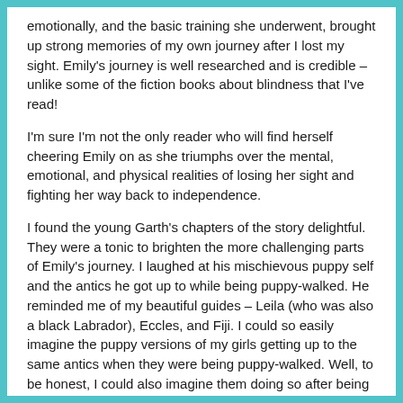emotionally, and the basic training she underwent, brought up strong memories of my own journey after I lost my sight. Emily's journey is well researched and is credible – unlike some of the fiction books about blindness that I've read!
I'm sure I'm not the only reader who will find herself cheering Emily on as she triumphs over the mental, emotional, and physical realities of losing her sight and fighting her way back to independence.
I found the young Garth's chapters of the story delightful. They were a tonic to brighten the more challenging parts of Emily's journey. I laughed at his mischievous puppy self and the antics he got up to while being puppy-walked. He reminded me of my beautiful guides – Leila (who was also a black Labrador), Eccles, and Fiji. I could so easily imagine the puppy versions of my girls getting up to the same antics when they were being puppy-walked. Well, to be honest, I could also imagine them doing so after being matched with me. Which made the whole Garth part of the story even funnier and cuter for me.